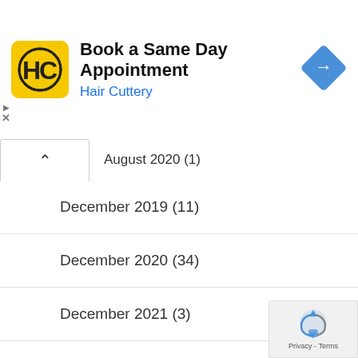[Figure (other): Hair Cuttery ad banner: HC logo (yellow square), title 'Book a Same Day Appointment', subtitle 'Hair Cuttery', blue navigation arrow icon on right]
August 2020 (1)
December 2019 (11)
December 2020 (34)
December 2021 (3)
February 2019 (12)
February 2021 (1)
February 2022 (9)
January 2019 (10)